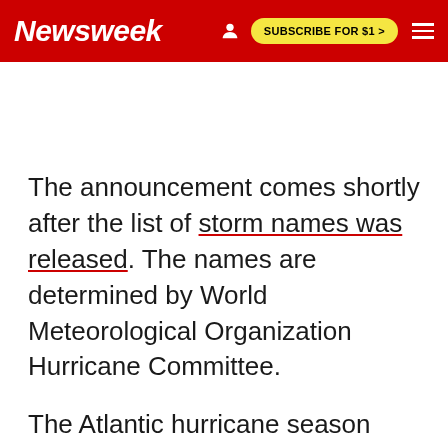Newsweek | SUBSCRIBE FOR $1 >
The announcement comes shortly after the list of storm names was released. The names are determined by World Meteorological Organization Hurricane Committee.
The Atlantic hurricane season runs from June 1 to November 30.
NEWSWEEK SUBSCRIPTION OFFERS >